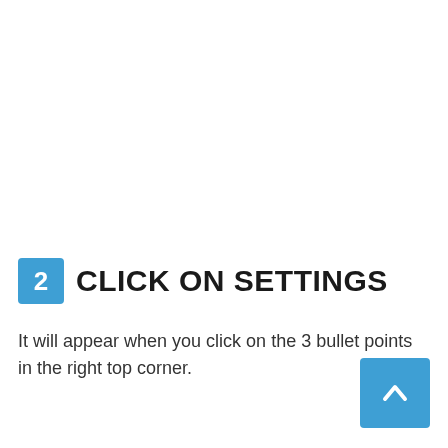2 CLICK ON SETTINGS
It will appear when you click on the 3 bullet points in the right top corner.